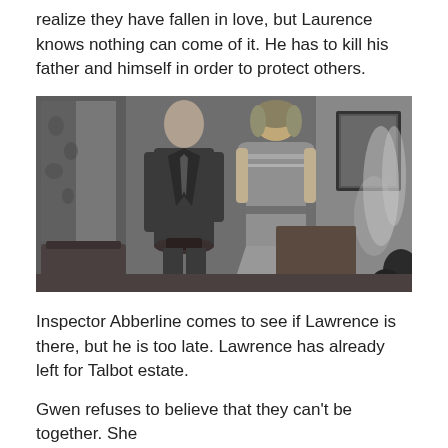realize they have fallen in love, but Laurence knows nothing can come of it. He has to kill his father and himself in order to protect others.
[Figure (photo): Black and white film still showing a man in a suit holding a hat, facing a woman in a dress from behind, standing in an indoor room setting.]
Inspector Abberline comes to see if Lawrence is there, but he is too late. Lawrence has already left for Talbot estate.
Gwen refuses to believe that they can't be together. She